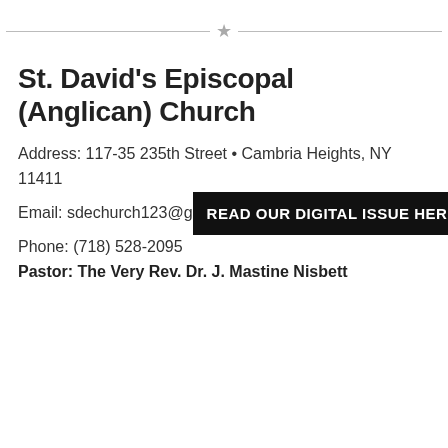[Figure (other): Decorative horizontal divider with a star icon in the center, lines extending to both sides]
St. David's Episcopal (Anglican) Church
Address: 117-35 235th Street • Cambria Heights, NY 11411
Email: sdechurch123@g...
Phone: (718) 528-2095
Pastor: The Very Rev. Dr. J. Mastine Nisbett